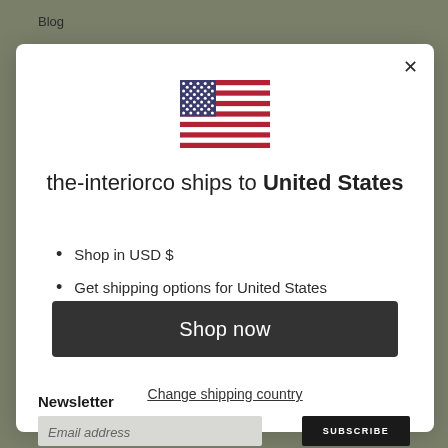Blog
[Figure (illustration): US flag SVG illustration centered in modal dialog]
the-interiorco ships to United States
Shop in USD $
Get shipping options for United States
Shop now
Change shipping country
Newsletter
Email address
SUBSCRIBE